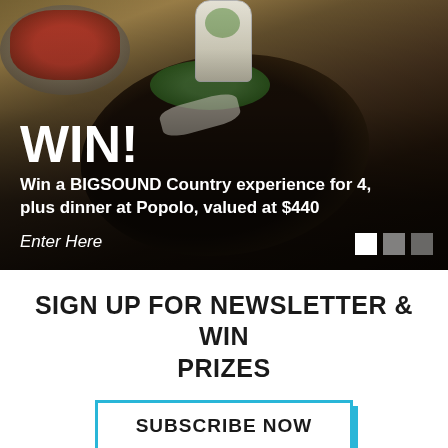[Figure (photo): Hero food photograph showing restaurant dishes including a cast iron pan with food garnished with microgreens and shaved cheese, with olive oil container in background. Dark overlay with promotional text.]
WIN!
Win a BIGSOUND Country experience for 4, plus dinner at Popolo, valued at $440
Enter Here
SIGN UP FOR NEWSLETTER & WIN PRIZES
SUBSCRIBE NOW
[Figure (illustration): Advertisement banner for The Gruffalo's Child Live on Stage, blue background with character illustration and star decorations]